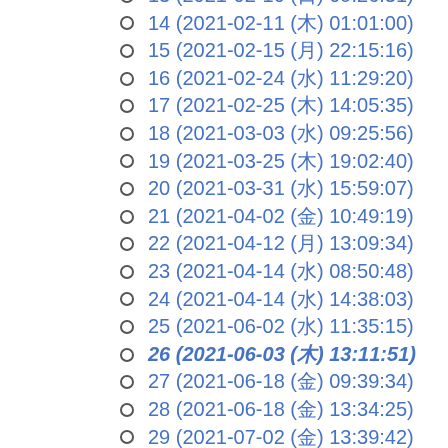13 (2021-02-10 (日) 09:26:31)
14 (2021-02-11 (木) 01:01:00)
15 (2021-02-15 (月) 22:15:16)
16 (2021-02-24 (水) 11:29:20)
17 (2021-02-25 (木) 14:05:35)
18 (2021-03-03 (水) 09:25:56)
19 (2021-03-25 (木) 19:02:40)
20 (2021-03-31 (水) 15:59:07)
21 (2021-04-02 (金) 10:49:19)
22 (2021-04-12 (月) 13:09:34)
23 (2021-04-14 (水) 08:50:48)
24 (2021-04-14 (水) 14:38:03)
25 (2021-06-02 (水) 11:35:15)
26 (2021-06-03 (木) 13:11:51)
27 (2021-06-18 (金) 09:39:34)
28 (2021-06-18 (金) 13:34:25)
29 (2021-07-02 (金) 13:39:42)
30 (2021-07-05 (月) 12:56:08)
31 (2021-07-20 (火) 14:23:34)
32 (2021-07-29 (木) 10:37:41)
33 (2021-08-19 (木) 12:46:51)
34 (2021-08-23 (月) 12:57:55)
35 (2021-09-01 (水) 16:49:10)
36 (2021-09-02 (木) 17:44:49)